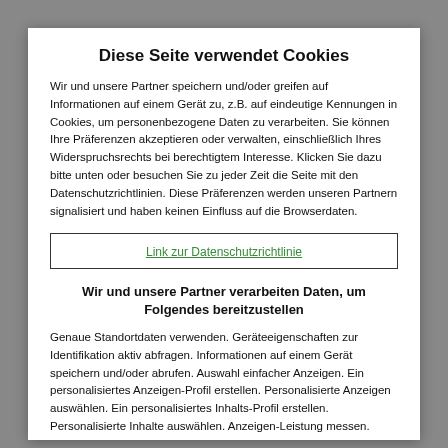Diese Seite verwendet Cookies
Wir und unsere Partner speichern und/oder greifen auf Informationen auf einem Gerät zu, z.B. auf eindeutige Kennungen in Cookies, um personenbezogene Daten zu verarbeiten. Sie können Ihre Präferenzen akzeptieren oder verwalten, einschließlich Ihres Widerspruchsrechts bei berechtigtem Interesse. Klicken Sie dazu bitte unten oder besuchen Sie zu jeder Zeit die Seite mit den Datenschutzrichtlinien. Diese Präferenzen werden unseren Partnern signalisiert und haben keinen Einfluss auf die Browserdaten.
Link zur Datenschutzrichtlinie
Wir und unsere Partner verarbeiten Daten, um Folgendes bereitzustellen
Genaue Standortdaten verwenden. Geräteeigenschaften zur Identifikation aktiv abfragen. Informationen auf einem Gerät speichern und/oder abrufen. Auswahl einfacher Anzeigen. Ein personalisiertes Anzeigen-Profil erstellen. Personalisierte Anzeigen auswählen. Ein personalisiertes Inhalts-Profil erstellen. Personalisierte Inhalte auswählen. Anzeigen-Leistung messen. Inhalte-Leistung messen. Marktforschung einsetzen, um Erkenntnisse über Zielgruppen zu